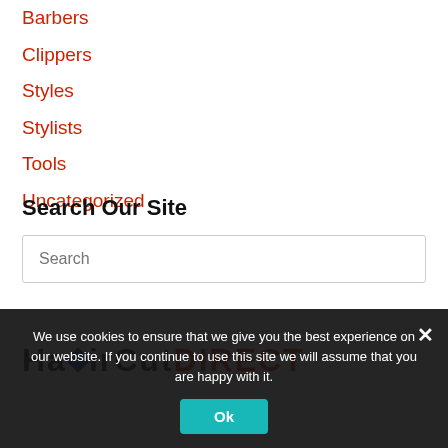Barbers
Clippers
Styles
Stylists
Tools
Uncategorized
Search Our Site
Search
[Figure (logo): HairCutDirect logo with blue diamond graphic, black HAIRCUT text, red DIRECT text]
We use cookies to ensure that we give you the best experience on our website. If you continue to use this site we will assume that you are happy with it.
Ok